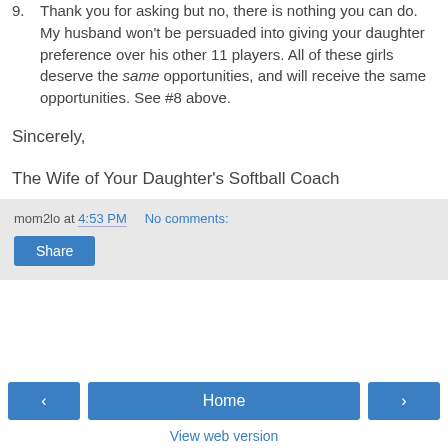9. Thank you for asking but no, there is nothing you can do. My husband won't be persuaded into giving your daughter preference over his other 11 players. All of these girls deserve the same opportunities, and will receive the same opportunities. See #8 above.
Sincerely,
The Wife of Your Daughter's Softball Coach
mom2lo at 4:53 PM   No comments:
Share
‹   Home   ›
View web version